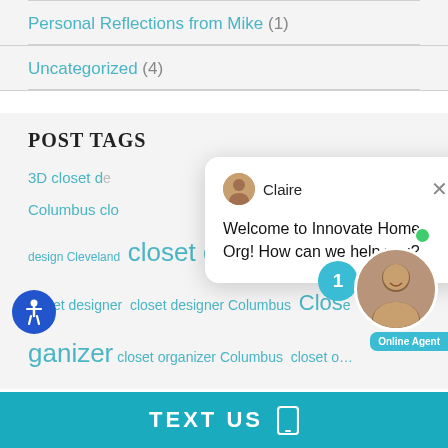Personal Reflections from Mike (1)
Uncategorized (4)
POST TAGS
3D closet d… Columbus clo… design Cleveland closet design Columbus closet designer closet designer Columbus clos… ganizer closet organizer Columbus closet o… closet tips Columbus closet Columbus clo…
[Figure (screenshot): Chat popup with avatar of Claire and message: Welcome to Innovate Home Org! How can we help you?]
[Figure (screenshot): Online agent photo with notification badge showing 1, green online dot, and Online Agent label]
[Figure (screenshot): Accessibility icon button (blue circle with person)]
TEXT US
[Figure (screenshot): Phone/mobile icon in white outline]